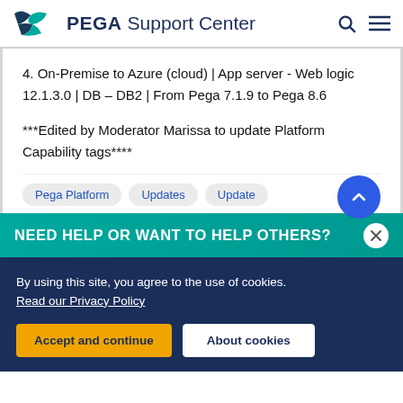PEGA Support Center
4. On-Premise to Azure (cloud) | App server - Web logic 12.1.3.0 | DB – DB2 | From Pega 7.1.9 to Pega 8.6
***Edited by Moderator Marissa to update Platform Capability tags****
Pega Platform   Updates   Update
NEED HELP OR WANT TO HELP OTHERS?
By using this site, you agree to the use of cookies. Read our Privacy Policy
Accept and continue   About cookies